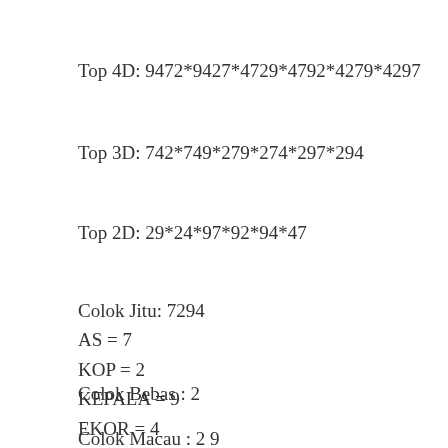Top 4D: 9472*9427*4729*4792*4279*4297
Top 3D: 742*749*279*274*297*294
Top 2D: 29*24*97*92*94*47
Colok Jitu: 7294
AS = 7
KOP = 2
KEPALA = 9
EKOR = 4
Colok Bebas : 2
Colok Macau : 2 9